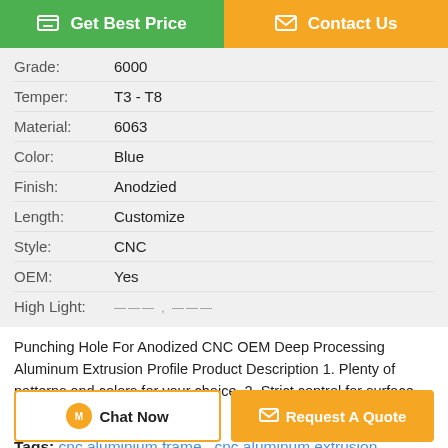| Label | Value |
| --- | --- |
| Grade: | 6000 |
| Temper: | T3 - T8 |
| Material: | 6063 |
| Color: | Blue |
| Finish: | Anodzied |
| Length: | Customize |
| Style: | CNC |
| OEM: | Yes |
| High Light: | --- , --- |
Punching Hole For Anodized CNC OEM Deep Processing Aluminum Extrusion Profile Product Description 1. Plenty of patterns and colors for your choice. 2. Strict control for surface finish, very little scratch. 3. ...
Tags: cnc aluminium frame , cnc aluminum extrusion , cnc aluminium profile
Product Description >